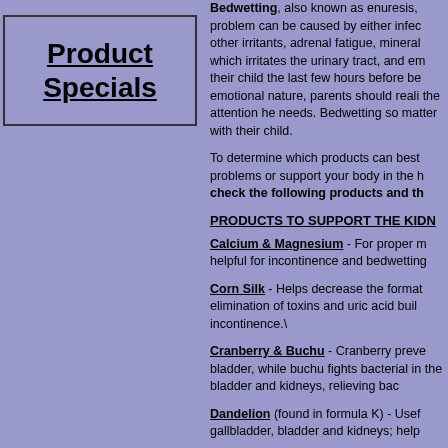Product Specials
Bedwetting, also known as enuresis, problem can be caused by either infec other irritants, adrenal fatigue, mineral which irritates the urinary tract, and em their child the last few hours before be emotional nature, parents should reali the attention he needs. Bedwetting so matter with their child.
To determine which products can best problems or support your body in the h check the following products and th
PRODUCTS TO SUPPORT THE KIDN
Calcium & Magnesium - For proper m helpful for incontinence and bedwettin
Corn Silk - Helps decrease the format elimination of toxins and uric acid buil incontinence.\
Cranberry & Buchu - Cranberry preve bladder, while buchu fights bacterial in the bladder and kidneys, relieving bac
Dandelion (found in formula K) - Usef gallbladder, bladder and kidneys; help
Echinacea & Golden Seal - Helps fig